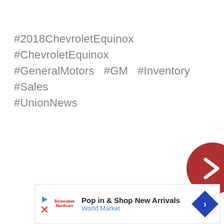#2018ChevroletEquinox  #ChevroletEquinox #GeneralMotors  #GM  #Inventory  #Sales #UnionNews
[Figure (other): Dark red circular navigation button with a right-pointing chevron/arrow, partially visible at right edge of page]
[Figure (other): Advertisement banner: Play and close icons, Restoration Hardware logo, text 'Pop in & Shop New Arrivals' with 'World Market' in blue, and a blue diamond-shaped arrow icon]